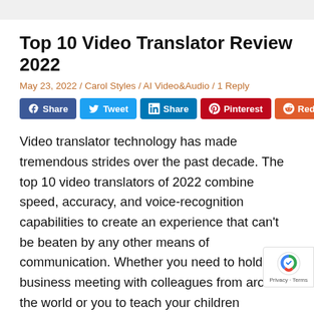Top 10 Video Translator Review 2022
May 23, 2022 / Carol Styles / AI Video&Audio / 1 Reply
[Figure (other): Social sharing buttons: Facebook Share, Tweet, LinkedIn Share, Pinterest, Reddit]
Video translator technology has made tremendous strides over the past decade. The top 10 video translators of 2022 combine speed, accuracy, and voice-recognition capabilities to create an experience that can't be beaten by any other means of communication. Whether you need to hold a business meeting with colleagues from around the world or you to teach your children languages from home, consider one of these top 10 video translators of 2022 for the best